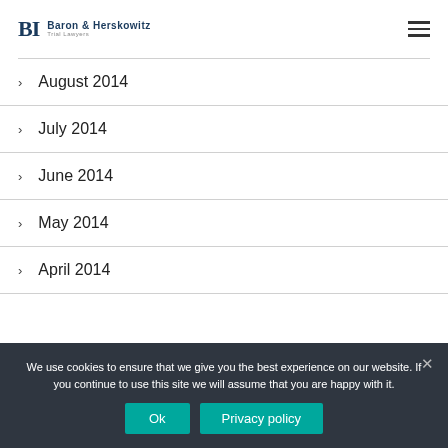Baron & Herskowitz Trial Lawyers
August 2014
July 2014
June 2014
May 2014
April 2014
We use cookies to ensure that we give you the best experience on our website. If you continue to use this site we will assume that you are happy with it.